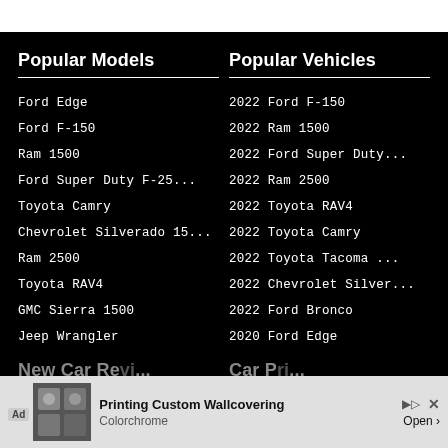Popular Models
Ford Edge
Ford F-150
Ram 1500
Ford Super Duty F-25...
Toyota Camry
Chevrolet Silverado 15...
Ram 2500
Toyota RAV4
GMC Sierra 1500
Jeep Wrangler
Popular Vehicles
2022 Ford F-150
2022 Ram 1500
2022 Ford Super Duty...
2022 Ram 2500
2022 Toyota RAV4
2022 Toyota Camry
2022 Toyota Tacoma ...
2022 Chevrolet Silver...
2022 Ford Bronco
2020 Ford Edge
New Car Reviews
2023 Ki...
[Figure (screenshot): Advertisement banner: Ad label, image thumbnail, 'Printing Custom Wallcovering' title, 'Colorchrome' subtitle, Open button]